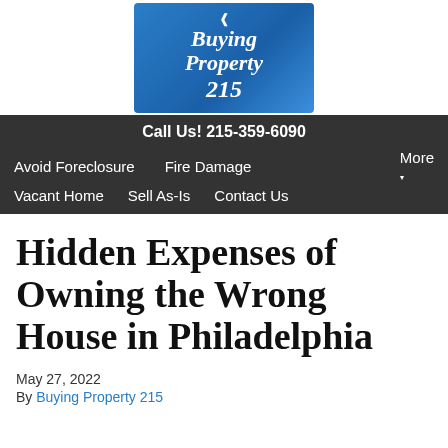[Figure (logo): Buying Property 215 logo — blue gradient background with white italic serif text reading 'Buying Property 215' and a small bird/house icon]
Call Us! 215-359-6090
Avoid Foreclosure   Fire Damage   More
Vacant Home   Sell As-Is   Contact Us
Hidden Expenses of Owning the Wrong House in Philadelphia
May 27, 2022
By Buying Property 215